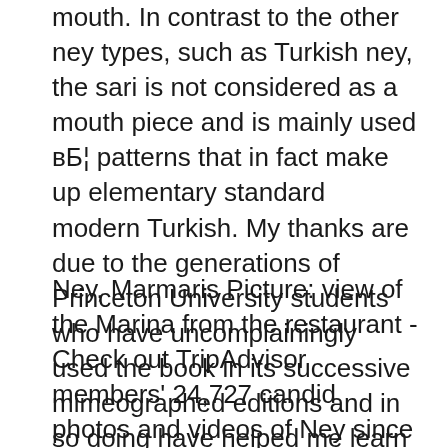mouth. In contrast to the other ney types, such as Turkish ney, the sari is not considered as a mouth piece and is mainly used вБ¦ patterns that in fact make up elementary standard modern Turkish. My thanks are due to the generations of Princeton University students who have uncomplainingly used the book in its successive mimeographed editions and in so doing have helped me learn what elementary Turkish is. Thanks are
Ney, Marmaris Picture: view of the Marina from the restaurant - Check out TripAdvisor members' 24,727 candid photos and videos of Ney since 1996. updated on June 29, 2018. The Ney. Turkish variety of the flute known under various names . and played from Morocco to India since very